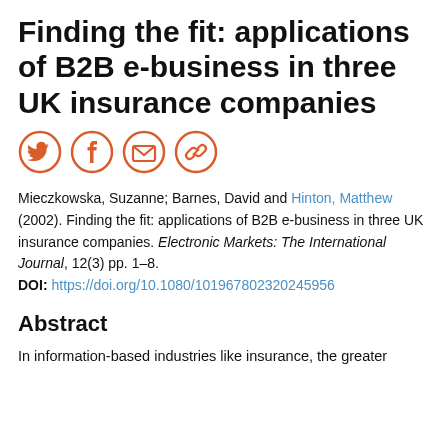Finding the fit: applications of B2B e-business in three UK insurance companies
[Figure (infographic): Four circular social media sharing icons (Twitter, Facebook, Email, Link) with orange outlines and orange symbols on white background]
Mieczkowska, Suzanne; Barnes, David and Hinton, Matthew (2002). Finding the fit: applications of B2B e-business in three UK insurance companies. Electronic Markets: The International Journal, 12(3) pp. 1–8.
DOI: https://doi.org/10.1080/101967802320245956
Abstract
In information-based industries like insurance, the greater